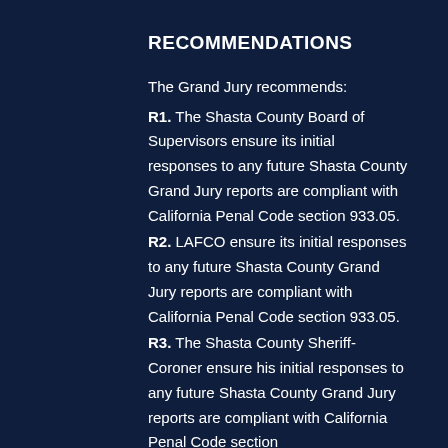RECOMMENDATIONS
The Grand Jury recommends:
R1. The Shasta County Board of Supervisors ensure its initial responses to any future Shasta County Grand Jury reports are compliant with California Penal Code section 933.05.
R2. LAFCO ensure its initial responses to any future Shasta County Grand Jury reports are compliant with California Penal Code section 933.05.
R3. The Shasta County Sheriff-Coroner ensure his initial responses to any future Shasta County Grand Jury reports are compliant with California Penal Code section